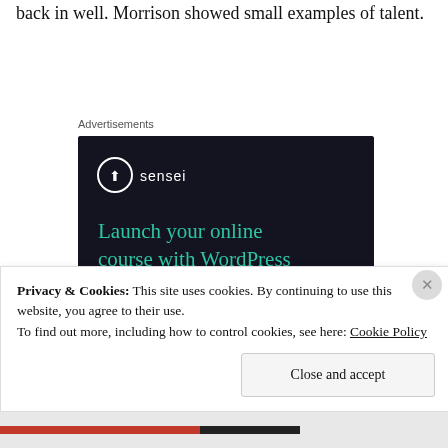back in well. Morrison showed small examples of talent.
Advertisements
[Figure (other): Sensei advertisement: 'Launch your online course with WordPress' with a 'Learn More' button on a dark background. Powered by WordPress.com.]
Privacy & Cookies: This site uses cookies. By continuing to use this website, you agree to their use.
To find out more, including how to control cookies, see here: Cookie Policy
Close and accept